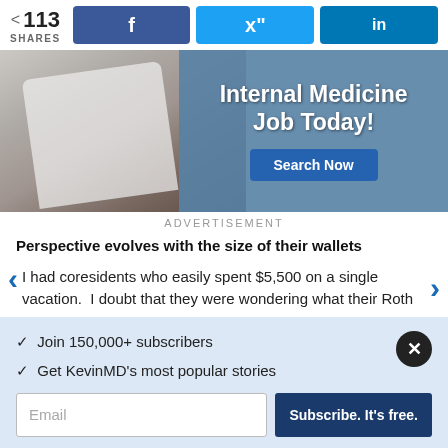< 113 SHARES
[Figure (screenshot): Social share buttons for Facebook, Twitter, and LinkedIn]
[Figure (photo): Advertisement image showing a blood pressure measurement with text: Internal Medicine Job Today! Search Now]
ADVERTISEMENT
Perspective evolves with the size of their wallets
I had coresidents who easily spent $5,500 on a single vacation. I doubt that they were wondering what their Roth
✓ Join 150,000+ subscribers
✓ Get KevinMD's most popular stories
Email | Subscribe. It's free.